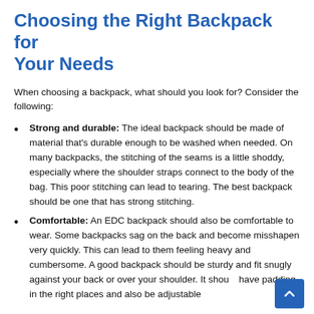Choosing the Right Backpack for Your Needs
When choosing a backpack, what should you look for? Consider the following:
Strong and durable: The ideal backpack should be made of material that's durable enough to be washed when needed. On many backpacks, the stitching of the seams is a little shoddy, especially where the shoulder straps connect to the body of the bag. This poor stitching can lead to tearing. The best backpack should be one that has strong stitching.
Comfortable: An EDC backpack should also be comfortable to wear. Some backpacks sag on the back and become misshapen very quickly. This can lead to them feeling heavy and cumbersome. A good backpack should be sturdy and fit snugly against your back or over your shoulder. It should have padding in the right places and also be adjustable